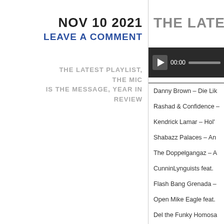NOV 10 2021
LEAVE A COMMENT
THE LATEST PLAYLIST, THE MIC IS THE MESSAGE, YEAR IN REVIEW
THE LATEST P
[Figure (other): Audio player with play button showing 00:00 time and progress bar]
Danny Brown – Die Lik
Rashad & Confidence –
Kendrick Lamar – Hol'
Shabazz Palaces – An
The Doppelgangaz – A
CunninLynguists feat.
Flash Bang Grenada –
Open Mike Eagle feat.
Del the Funky Homosa